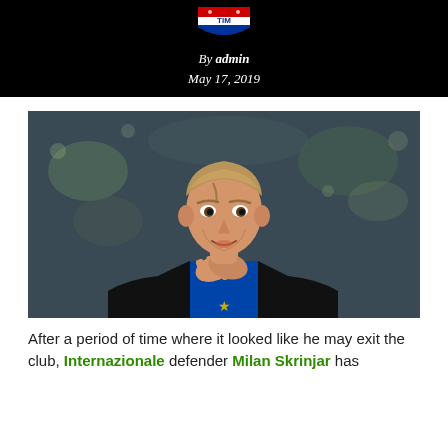[Figure (logo): TIM Serie A logo - red, white and blue shield-style badge with TIM text]
By admin
May 17, 2019
[Figure (photo): Close-up photo of Milan Skriniar, Internazionale defender, wearing a black and blue Inter Milan jersey, clapping his hands, with blurred stadium background]
After a period of time where it looked like he may exit the club, Internazionale defender Milan Skriniar has